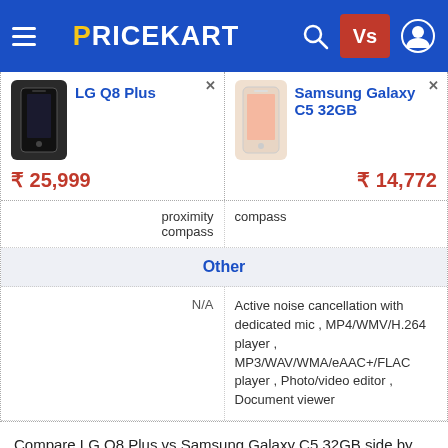PRICEKART — navigation header with hamburger menu, search, Vs button, and user icon
| LG Q8 Plus | Samsung Galaxy C5 32GB |
| --- | --- |
| ₹25,999 | ₹14,772 |
| proximity compass | compass |
| Other | Other |
| N/A | Active noise cancellation with dedicated mic , MP4/WMV/H.264 player , MP3/WAV/WMA/eAAC+/FLAC player , Photo/video editor , Document viewer |
Compare LG Q8 Plus vs Samsung Galaxy C5 32GB side by side and view detailed specifications, features and lowest price. By comparing LG Q8 Plus vs Samsung Galaxy C5 32GB, you will get an obvious idea about which to prefer considering the features and